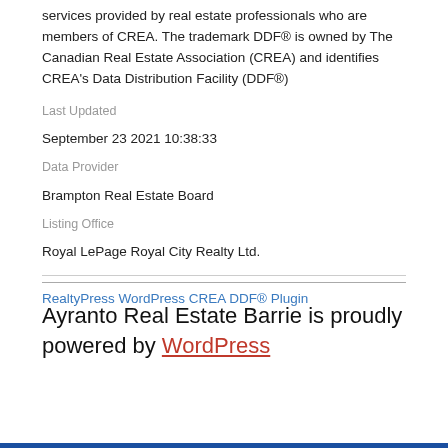services provided by real estate professionals who are members of CREA. The trademark DDF® is owned by The Canadian Real Estate Association (CREA) and identifies CREA's Data Distribution Facility (DDF®)
Last Updated
September 23 2021 10:38:33
Data Provider
Brampton Real Estate Board
Listing Office
Royal LePage Royal City Realty Ltd.
RealtyPress WordPress CREA DDF® Plugin
Ayranto Real Estate Barrie is proudly powered by WordPress